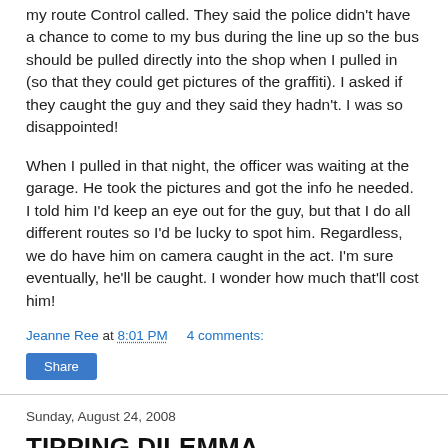my route Control called. They said the police didn't have a chance to come to my bus during the line up so the bus should be pulled directly into the shop when I pulled in (so that they could get pictures of the graffiti). I asked if they caught the guy and they said they hadn't. I was so disappointed!
When I pulled in that night, the officer was waiting at the garage. He took the pictures and got the info he needed. I told him I'd keep an eye out for the guy, but that I do all different routes so I'd be lucky to spot him. Regardless, we do have him on camera caught in the act. I'm sure eventually, he'll be caught. I wonder how much that'll cost him!
Jeanne Ree at 8:01 PM   4 comments:
Share
Sunday, August 24, 2008
TIPPING DILEMMA